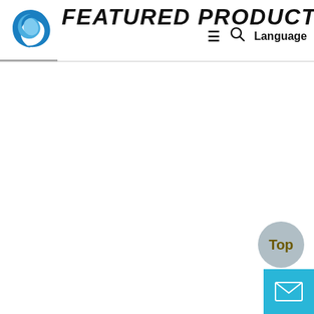FEATURED PRODUCTS
[Figure (logo): Blue swirl/wave logo icon]
Language
[Figure (other): Left and right navigation arrow buttons]
[Figure (other): Top button - circular grey button with olive/gold text 'Top']
[Figure (other): Mail/envelope button - cyan/blue square button with white envelope icon]